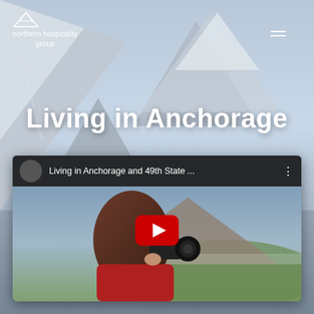[Figure (screenshot): Background image of snow-capped mountain peaks with blue sky, serving as the page background for a Northern Hospitality Group webpage about Living in Anchorage.]
[Figure (logo): Northern Hospitality Group logo - white mountain/triangle icon above the text 'northern hospitality group']
[Figure (other): Hamburger menu icon (three horizontal white lines) in top right corner]
Living in Anchorage
[Figure (screenshot): YouTube video embed thumbnail showing a woman in a red jacket photographing a mountainous landscape, with a YouTube play button overlay. Video title: 'Living in Anchorage and 49th State ...']